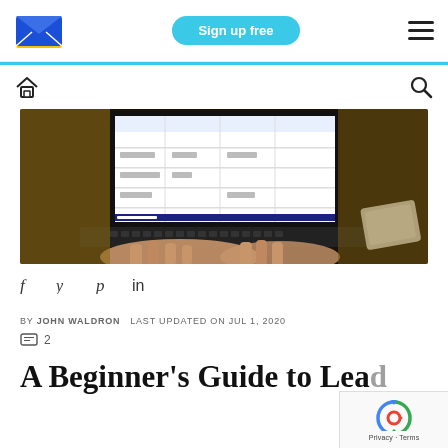Sign up free
[Figure (logo): Sendinblue email marketing logo — blue and yellow envelope icon]
[Figure (photo): Person typing on a laptop showing a spreadsheet or data dashboard on screen, phone on table beside them]
f  y  p  in
BY JOHN WALDRON   LAST UPDATED ON JUL 1, 2020
□ 2
A Beginner's Guide to Lead